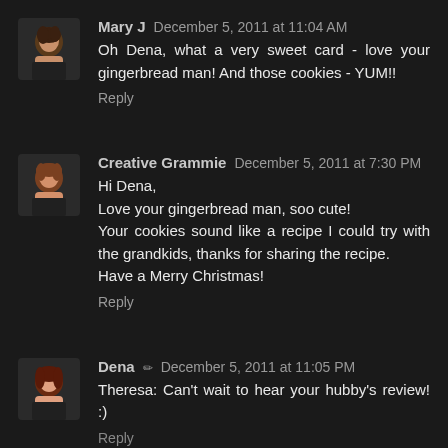Mary J December 5, 2011 at 11:04 AM
Oh Dena, what a very sweet card - love your gingerbread man! And those cookies - YUM!!
Reply
Creative Grammie December 5, 2011 at 7:30 PM
Hi Dena,
Love your gingerbread man, soo cute!
Your cookies sound like a recipe I could try with the grandkids, thanks for sharing the recipe.
Have a Merry Christmas!
Reply
Dena December 5, 2011 at 11:05 PM
Theresa: Can't wait to hear your hubby's review! :)
Reply